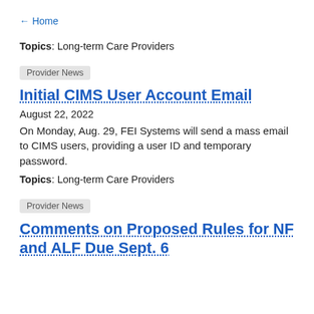← Home
Topics: Long-term Care Providers
Provider News
Initial CIMS User Account Email
August 22, 2022
On Monday, Aug. 29, FEI Systems will send a mass email to CIMS users, providing a user ID and temporary password.
Topics: Long-term Care Providers
Provider News
Comments on Proposed Rules for NF and ALF Due Sept. 6